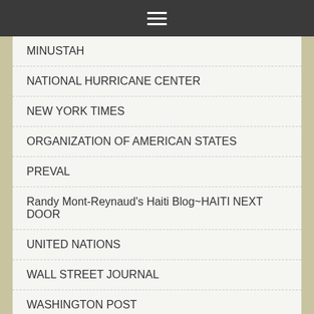≡
MINUSTAH
NATIONAL HURRICANE CENTER
NEW YORK TIMES
ORGANIZATION OF AMERICAN STATES
PREVAL
Randy Mont-Reynaud's Haiti Blog~HAITI NEXT DOOR
UNITED NATIONS
WALL STREET JOURNAL
WASHINGTON POST
December 2016